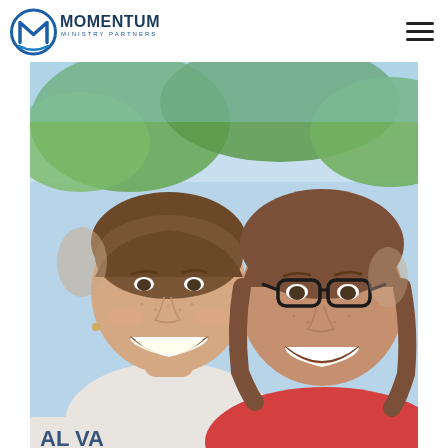Momentum Ministry Partners logo and navigation
[Figure (photo): Two young women smiling closely together for a selfie outdoors, with green trees and blue sky in the background. The woman on the left has brown hair pulled back and is wearing a light gray top. The woman on the right has wavy brown hair and is wearing glasses and a red shirt.]